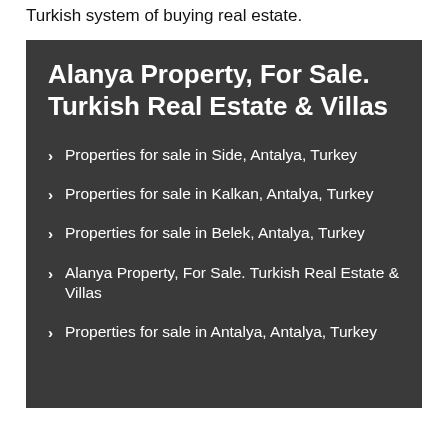Turkish system of buying real estate.
Alanya Property, For Sale. Turkish Real Estate & Villas
Properties for sale in Side, Antalya, Turkey
Properties for sale in Kalkan, Antalya, Turkey
Properties for sale in Belek, Antalya, Turkey
Alanya Property, For Sale. Turkish Real Estate & Villas
Properties for sale in Antalya, Antalya, Turkey